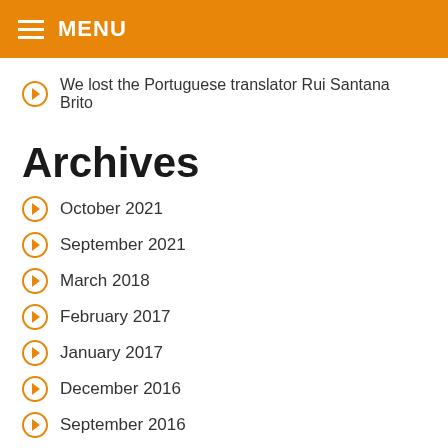MENU
We lost the Portuguese translator Rui Santana Brito
Archives
October 2021
September 2021
March 2018
February 2017
January 2017
December 2016
September 2016
May 2015
December 2014